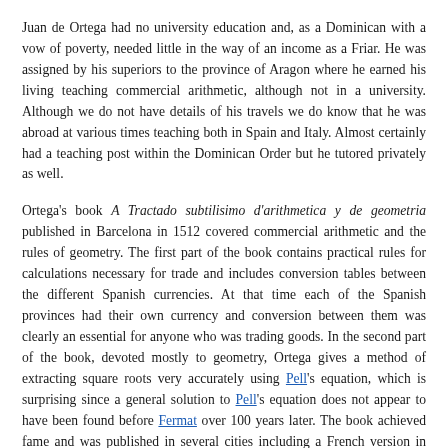Juan de Ortega had no university education and, as a Dominican with a vow of poverty, needed little in the way of an income as a Friar. He was assigned by his superiors to the province of Aragon where he earned his living teaching commercial arithmetic, although not in a university. Although we do not have details of his travels we do know that he was abroad at various times teaching both in Spain and Italy. Almost certainly had a teaching post within the Dominican Order but he tutored privately as well.
Ortega's book A Tractado subtilisimo d'arithmetica y de geometria published in Barcelona in 1512 covered commercial arithmetic and the rules of geometry. The first part of the book contains practical rules for calculations necessary for trade and includes conversion tables between the different Spanish currencies. At that time each of the Spanish provinces had their own currency and conversion between them was clearly an essential for anyone who was trading goods. In the second part of the book, devoted mostly to geometry, Ortega gives a method of extracting square roots very accurately using Pell's equation, which is surprising since a general solution to Pell's equation does not appear to have been found before Fermat over 100 years later. The book achieved fame and was published in several cities including a French version in Lyon in 1515, being